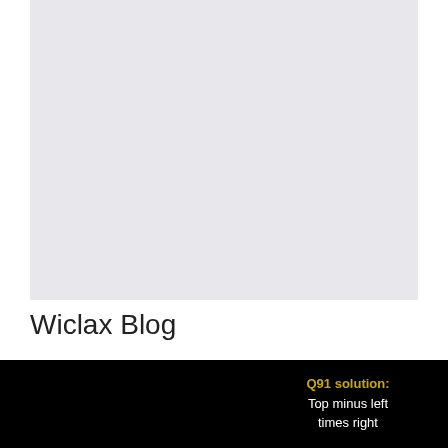[Figure (other): Gray advertisement placeholder block]
Wiclax Blog
[Figure (screenshot): Mobile game screenshot showing hexagonal puzzle game with colored hexagons numbered 6, 7, 8, 6, 2, 3, 7, 6, Y and a life/heart bar at top showing 1 red heart and 4 dark hearts, score 441. On the right side dark panel shows text 'Q91 solution: Top minus left times right' in yellow and white text.]